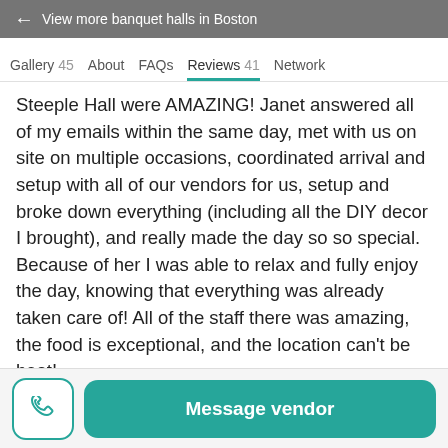← View more banquet halls in Boston
Gallery 45   About   FAQs   Reviews 41   Network
Steeple Hall were AMAZING! Janet answered all of my emails within the same day, met with us on site on multiple occasions, coordinated arrival and setup with all of our vendors for us, setup and broke down everything (including all the DIY decor I brought), and really made the day so so special. Because of her I was able to relax and fully enjoy the day, knowing that everything was already taken care of! All of the staff there was amazing, the food is exceptional, and the location can't be beat!
[Figure (photo): Three thumbnail images of the venue]
Message vendor